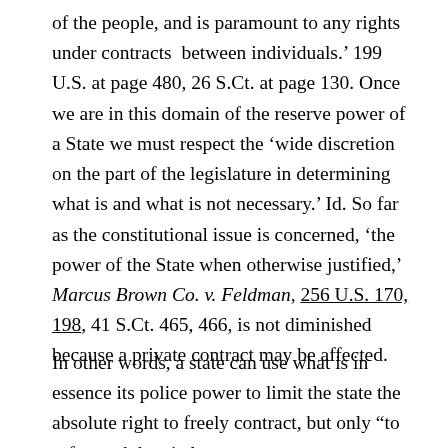of the people, and is paramount to any rights under contracts between individuals.' 199 U.S. at page 480, 26 S.Ct. at page 130. Once we are in this domain of the reserve power of a State we must respect the ‘wide discretion on the part of the legislature in determining what is and what is not necessary.’ Id. So far as the constitutional issue is concerned, ‘the power of the State when otherwise justified,’ Marcus Brown Co. v. Feldman, 256 U.S. 170, 198, 41 S.Ct. 465, 466, is not diminished because a private contract may be affected.
In other words, a state can use what is in essence its police power to limit the state the absolute right to freely contract, but only “to safeguard the vital